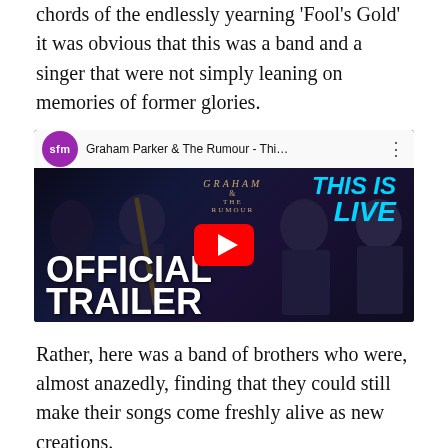chords of the endlessly yearning 'Fool's Gold' it was obvious that this was a band and a singer that were not simply leaning on memories of former glories.
[Figure (screenshot): YouTube video thumbnail for Graham Parker & The Rumour - 'This Is Live' Official Trailer, with SFM channel badge, band members on stage with guitars, large white text 'OFFICIAL TRAILER' overlaid, and a red YouTube play button in the center.]
Rather, here was a band of brothers who were, almost anazedly, finding that they could still make their songs come freshly alive as new creations.